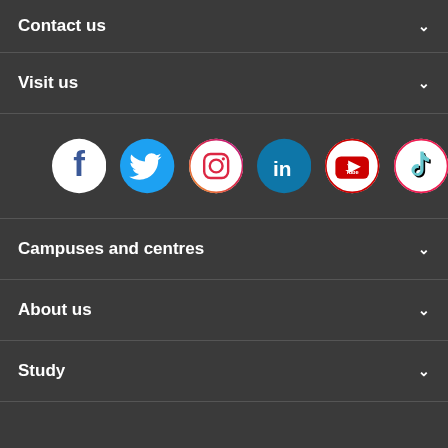Contact us
Visit us
[Figure (infographic): Row of six social media icons: Facebook, Twitter, Instagram, LinkedIn, YouTube, TikTok]
Campuses and centres
About us
Study